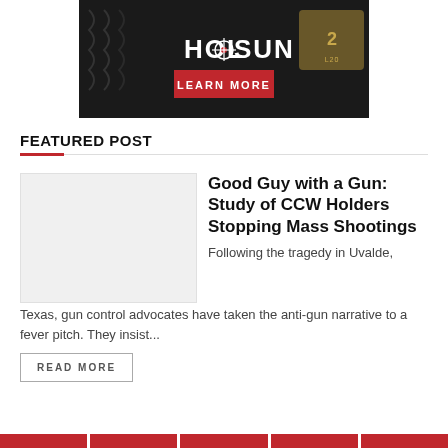[Figure (photo): Holosun advertisement banner showing gun optics on a dark background with the HOLOSUN logo and a red LEARN MORE button]
FEATURED POST
[Figure (photo): Thumbnail placeholder image for featured post, light gray rectangle]
Good Guy with a Gun: Study of CCW Holders Stopping Mass Shootings
Following the tragedy in Uvalde, Texas, gun control advocates have taken the anti-gun narrative to a fever pitch. They insist...
READ MORE